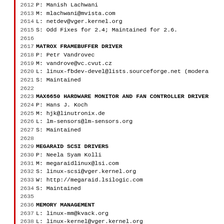2612 P:      Manish Lachwani
2613 M:      mlachwani@mvista.com
2614 L:      netdev@vger.kernel.org
2615 S:      Odd Fixes for 2.4; Maintained for 2.6.
2616
2617 MATROX FRAMEBUFFER DRIVER
2618 P:      Petr Vandrovec
2619 M:      vandrove@vc.cvut.cz
2620 L:      linux-fbdev-devel@lists.sourceforge.net (modera
2621 S:      Maintained
2622
2623 MAX6650 HARDWARE MONITOR AND FAN CONTROLLER DRIVER
2624 P:      Hans J. Koch
2625 M:      hjk@linutronix.de
2626 L:      lm-sensors@lm-sensors.org
2627 S:      Maintained
2628
2629 MEGARAID SCSI DRIVERS
2630 P:      Neela Syam Kolli
2631 M:      megaraidlinux@lsi.com
2632 S:      linux-scsi@vger.kernel.org
2633 W:      http://megaraid.lsilogic.com
2634 S:      Maintained
2635
2636 MEMORY MANAGEMENT
2637 L:      linux-mm@kvack.org
2638 L:      linux-kernel@vger.kernel.org
2639 W:      http://www.linux-mm.org
2640 S:      Maintained
2641
2642 MEMORY RESOURCE CONTROLLER
2643 P:      Balbir Singh